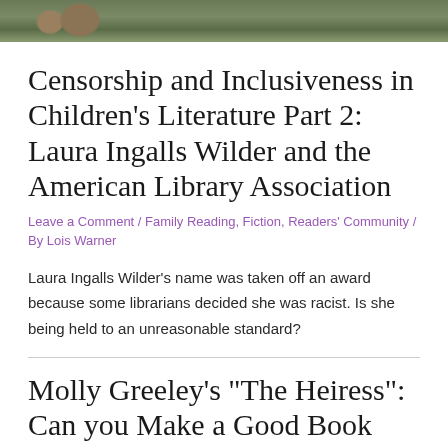[Figure (photo): Partial outdoor photograph showing rocks and grass, cropped at top of page]
Censorship and Inclusiveness in Children's Literature Part 2: Laura Ingalls Wilder and the American Library Association
Leave a Comment / Family Reading, Fiction, Readers' Community / By Lois Warner
Laura Ingalls Wilder's name was taken off an award because some librarians decided she was racist. Is she being held to an unreasonable standard?
Molly Greeley's “The Heiress”: Can you Make a Good Book